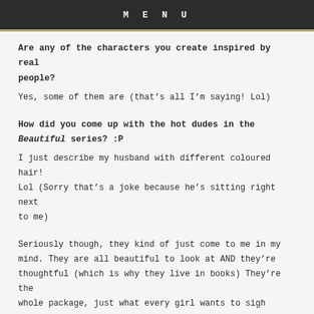MENU
Are any of the characters you create inspired by real people?
Yes, some of them are (that’s all I’m saying! Lol)
How did you come up with the hot dudes in the Beautiful series? :P
I just describe my husband with different coloured hair! Lol (Sorry that’s a joke because he’s sitting right next to me)
Seriously though, they kind of just come to me in my mind. They are all beautiful to look at AND they’re thoughtful (which is why they live in books) They’re the whole package, just what every girl wants to sigh over!